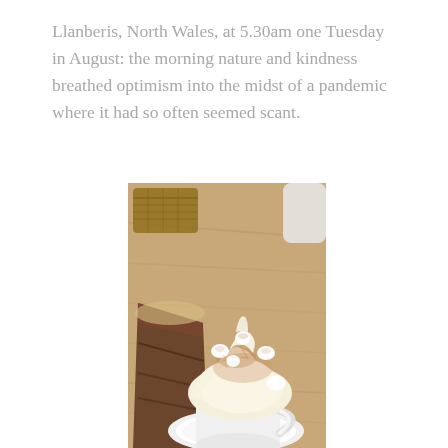Llanberis, North Wales, at 5.30am one Tuesday in August: the morning nature and kindness breathed optimism into the midst of a pandemic where it had so often seemed scant.
[Figure (photo): A close-up photo of a hot chocolate drink topped with a large swirl of whipped cream, mini marshmallows, and dusted with cocoa powder, served in a white cup on a white saucer. In the background is a wooden table and what appears to be a slice of chocolate cake.]